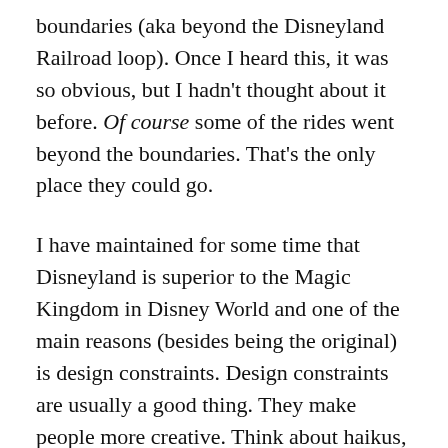boundaries (aka beyond the Disneyland Railroad loop). Once I heard this, it was so obvious, but I hadn't thought about it before. Of course some of the rides went beyond the boundaries. That's the only place they could go.
I have maintained for some time that Disneyland is superior to the Magic Kingdom in Disney World and one of the main reasons (besides being the original) is design constraints. Design constraints are usually a good thing. They make people more creative. Think about haikus, sonnets, and the 3 minute pop song. Enormous creativity can come out of sometimes harsh or even arbitrary constraints. Disneyland is no exception.